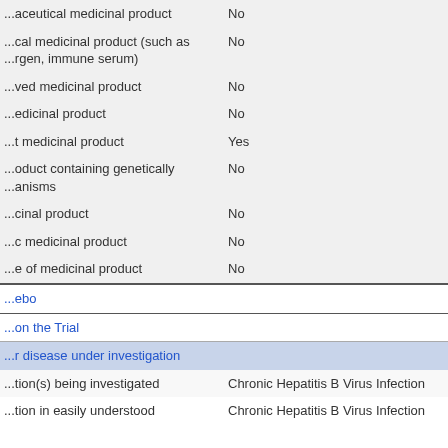| Product type | Value |
| --- | --- |
| ...involve an Advanced Therapy) |  |
| ...aceutical medicinal product | No |
| ...cal medicinal product (such as ...rgen, immune serum) | No |
| ...ved medicinal product | No |
| ...edicinal product | No |
| ...t medicinal product | Yes |
| ...oduct containing genetically ...anisms | No |
| ...cinal product | No |
| ...c medicinal product | No |
| ...e of medicinal product | No |
...ebo
...on the Trial
...r disease under investigation
...tion(s) being investigated
Chronic Hepatitis B Virus Infection
...tion in easily understood
Chronic Hepatitis B Virus Infection